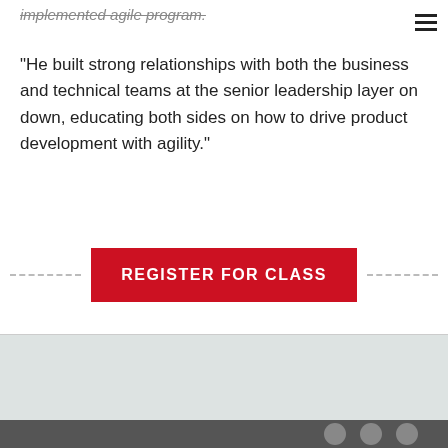[hamburger menu icon]
implemented agile program.
“He built strong relationships with both the business and technical teams at the senior leadership layer on down, educating both sides on how to drive product development with agility.”
REGISTER FOR CLASS